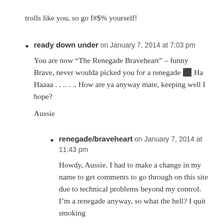...trolls like you, so go f#$% yourself!
ready down under on January 7, 2014 at 7:03 pm

You are now “The Renegade Braveheart” – funny Brave, never woulda picked you for a renegade � Ha Haaaa …….. How are ya anyway mate, keeping well I hope?

Aussie
renegade/braveheart on January 7, 2014 at 11:43 pm

Howdy, Aussie. I had to make a change in my name to get comments to go through on this site due to technical problems beyond my control. I’m a renegade anyway, so what the hell? I quit smoking